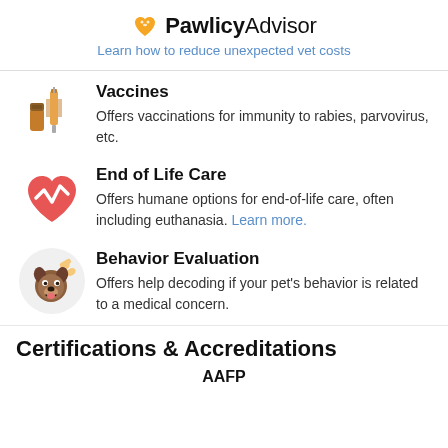PawlicyAdvisor — Learn how to reduce unexpected vet costs
Vaccines — Offers vaccinations for immunity to rabies, parvovirus, etc.
End of Life Care — Offers humane options for end-of-life care, often including euthanasia. Learn more.
Behavior Evaluation — Offers help decoding if your pet's behavior is related to a medical concern.
Certifications & Accreditations
AAFP